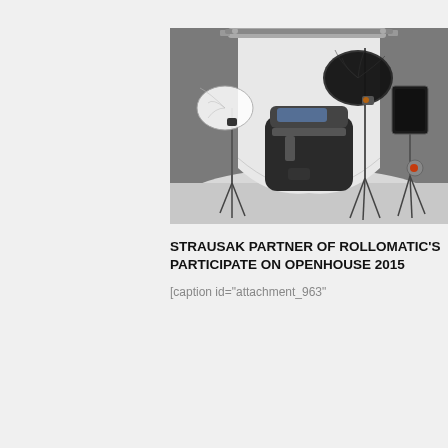[Figure (photo): Black and white photo of a professional photography studio setup with a machine/printer in the center, surrounded by lighting equipment including umbrellas and soft boxes on tripod stands, with a seamless backdrop roll in the background.]
STRAUSAK PARTNER OF ROLLOMATIC'S PARTICIPATE ON OPENHOUSE 2015
[caption id="attachment_963"